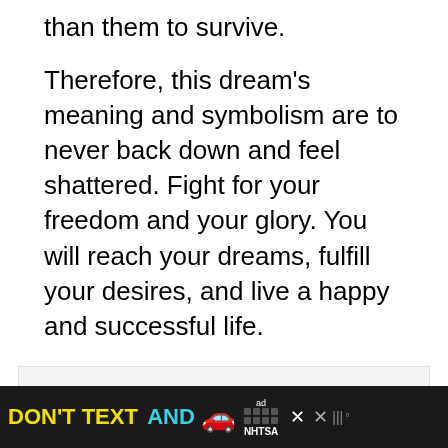than them to survive.
Therefore, this dream's meaning and symbolism are to never back down and feel shattered. Fight for your freedom and your glory. You will reach your dreams, fulfill your desires, and live a happy and successful life.
Contents  [ hide ]
1 Look for the details in your dream about Aardvark:
2 Compare the behavior of Aardvark to your
[Figure (infographic): Advertisement banner: DON'T TEXT AND [car emoji] with ad logo and NHTSA branding, close buttons]